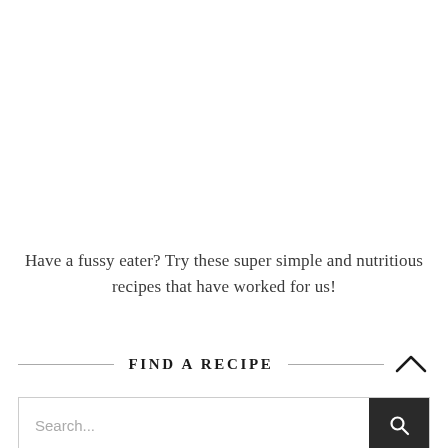Have a fussy eater? Try these super simple and nutritious recipes that have worked for us!
FIND A RECIPE